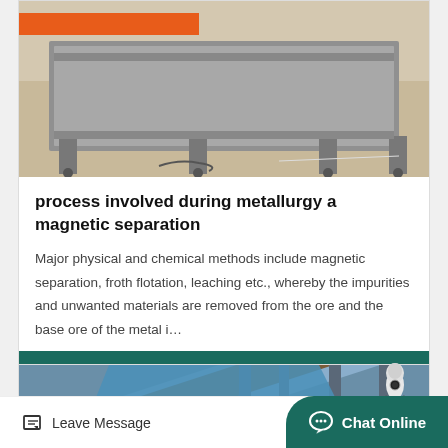[Figure (photo): Industrial machinery — a gray metal frame/conveyor structure on a concrete floor with an orange element in the background]
process involved during metallurgy a magnetic separation
Major physical and chemical methods include magnetic separation, froth flotation, leaching etc., whereby the impurities and unwanted materials are removed from the ore and the base ore of the metal i…
Read More
[Figure (photo): Industrial conveyor or screening equipment viewed from below at an angle, with blue and brown components on a metal frame structure]
Leave Message  Chat Online